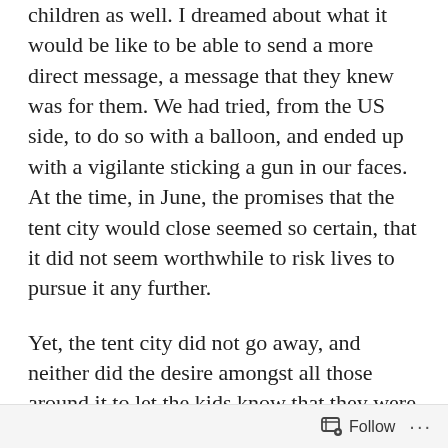children as well. I dreamed about what it would be like to be able to send a more direct message, a message that they knew was for them. We had tried, from the US side, to do so with a balloon, and ended up with a vigilante sticking a gun in our faces. At the time, in June, the promises that the tent city would close seemed so certain, that it did not seem worthwhile to risk lives to pursue it any further.
Yet, the tent city did not go away, and neither did the desire amongst all those around it to let the kids know that they were supported and loved. Over the months, the tent city transformed from a temporary crisis intervention space for separated kids, to a long term incarceration facility for all manner of kids who had been classified as unaccompanied minors. As the classification of kids expanded, so did the numbers, from hundreds to thousands, until the sounds of their play vibrated the border wall and echoed over to the town of Caseta.
Follow ···